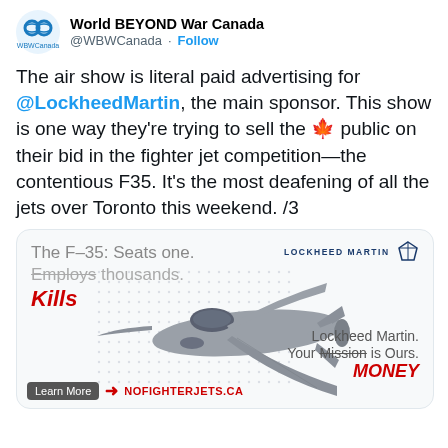World BEYOND War Canada @WBWCanada · Follow
The air show is literal paid advertising for @LockheedMartin, the main sponsor. This show is one way they're trying to sell the 🍁 public on their bid in the fighter jet competition—the contentious F35. It's the most deafening of all the jets over Toronto this weekend. /3
[Figure (infographic): A parody Lockheed Martin F-35 advertisement card. Top left text reads 'The F-35: Seats one. Employs (strikethrough) / KILLS (red italic) thousands.' Lockheed Martin logo top right. Image of F-35 fighter jet in center. Bottom right: 'Lockheed Martin. Your Mission (strikethrough) is Ours. MONEY (red italic)'. Bottom left: Learn More button with arrow and NOFIGHTERJETS.CA in red.]